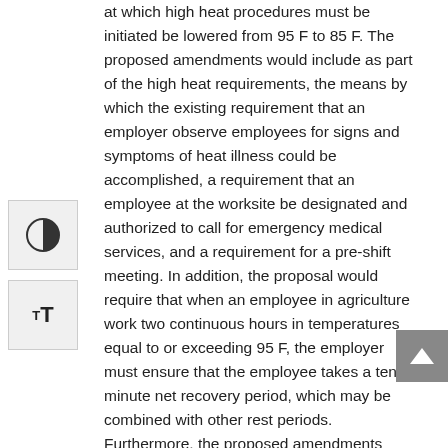at which high heat procedures must be initiated be lowered from 95 F to 85 F. The proposed amendments would include as part of the high heat requirements, the means by which the existing requirement that an employer observe employees for signs and symptoms of heat illness could be accomplished, a requirement that an employee at the worksite be designated and authorized to call for emergency medical services, and a requirement for a pre-shift meeting. In addition, the proposal would require that when an employee in agriculture work two continuous hours in temperatures equal to or exceeding 95 F, the employer must ensure that the employee takes a ten minute net recovery period, which may be combined with other rest periods. Furthermore, the proposed amendments would require that workers receive additional training on the right to exercise their rights under the standard without fear of retaliation, the employer's